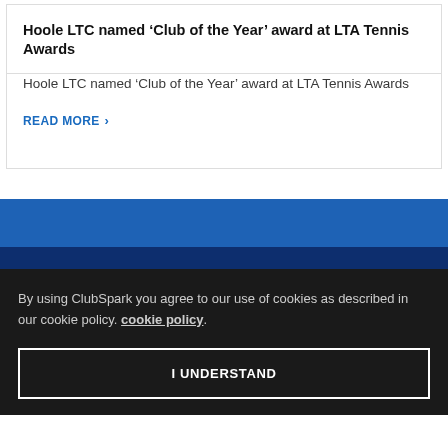Hoole LTC named ‘Club of the Year’ award at LTA Tennis Awards
Hoole LTC named ‘Club of the Year’ award at LTA Tennis Awards
READ MORE ›
By using ClubSpark you agree to our use of cookies as described in our cookie policy. cookie policy.
I UNDERSTAND